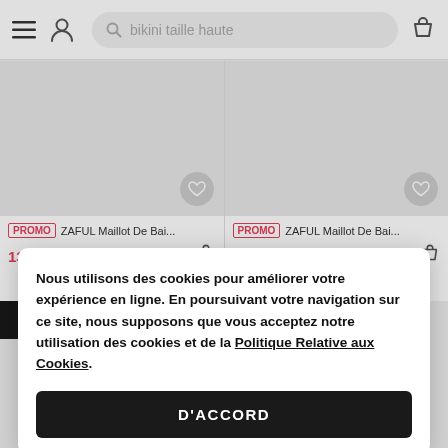bikini taille haute
[Figure (screenshot): Two product cards for ZAFUL Maillot De Bai... each with PROMO badge, price in red (13,22€ and 14,28€), crossed-out original price (PVC 32,21€ and PVC 34,03€), and heart/cart icons]
Nous utilisons des cookies pour améliorer votre expérience en ligne. En poursuivant votre navigation sur ce site, nous supposons que vous acceptez notre utilisation des cookies et de la Politique Relative aux Cookies.
D'ACCORD